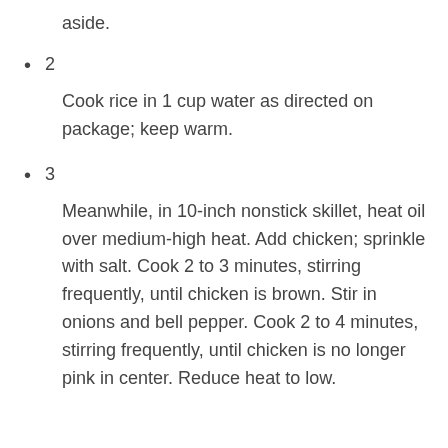aside.
2
Cook rice in 1 cup water as directed on package; keep warm.
3
Meanwhile, in 10-inch nonstick skillet, heat oil over medium-high heat. Add chicken; sprinkle with salt. Cook 2 to 3 minutes, stirring frequently, until chicken is brown. Stir in onions and bell pepper. Cook 2 to 4 minutes, stirring frequently, until chicken is no longer pink in center. Reduce heat to low.